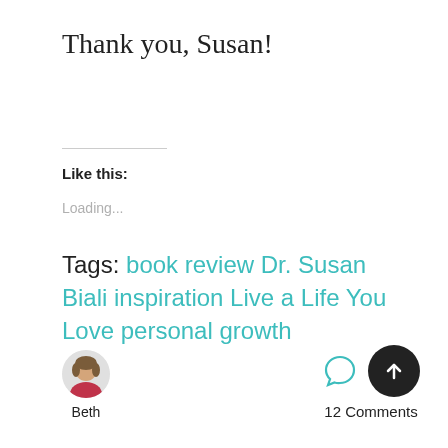Thank you, Susan!
Like this:
Loading...
Tags: book review Dr. Susan Biali inspiration Live a Life You Love personal growth
[Figure (photo): Author avatar photo of Beth, a circular portrait image]
Beth
12 Comments